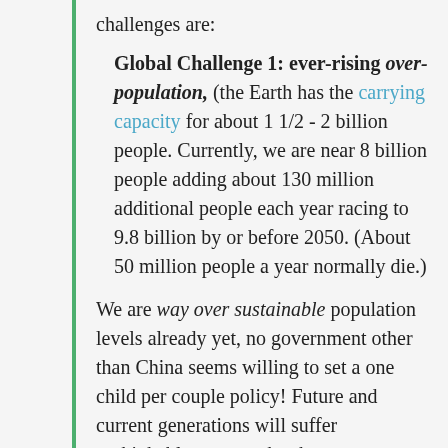challenges are:
Global Challenge 1: ever-rising over-population, (the Earth has the carrying capacity for about 1 1/2 - 2 billion people. Currently, we are near 8 billion people adding about 130 million additional people each year racing to 9.8 billion by or before 2050. (About 50 million people a year normally die.)
We are way over sustainable population levels already yet, no government other than China seems willing to set a one child per couple policy! Future and current generations will suffer unthinkable catastrophes because, as humanity, we failed to manage the size